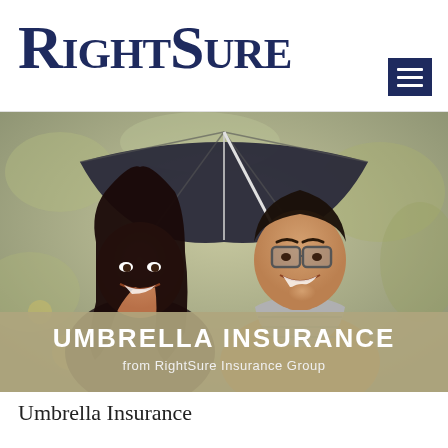RightSure
[Figure (photo): A man and woman smiling under a dark umbrella outdoors in a park setting. The woman has long dark hair and a leather jacket; the man wears glasses and a striped scarf with an orange sweater. Below the photo is a semi-transparent overlay bar with bold white text reading 'UMBRELLA INSURANCE' and subtitle 'from RightSure Insurance Group'.]
Umbrella Insurance